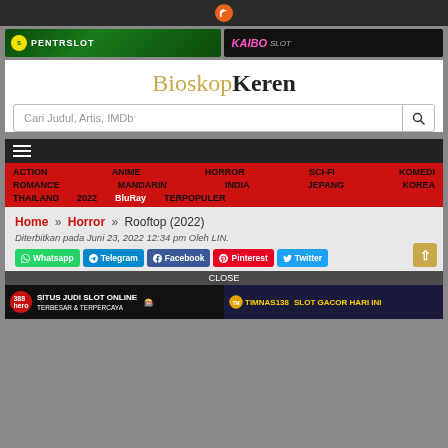BioskopKeren - RSS feed icon
[Figure (screenshot): Two advertisement banners: PentraSlot (green background) and Kaibo Slot (dark background)]
BioskopKeren
Cari Judul, Artis, IMDb
ACTION   ANIME   HORROR   SCI-FI   KOMEDI   ROMANCE   MANDARIN   INDIA   JEPANG   KOREA   THAILAND   2022   BluRay   TERPOPULER
Home » Horror » Rooftop (2022)
Diterbitkan pada Juni 23, 2022 12:34 pm Oleh LIN.
Whatsapp   Telegram   Facebook   Pinterest   Twitter
CLOSE
[Figure (screenshot): Two advertisement banners at bottom: 388hero Situs Judi Slot Online Terbesar & Terpercaya, and Timnas138 Slot Gacor Hari Ini]